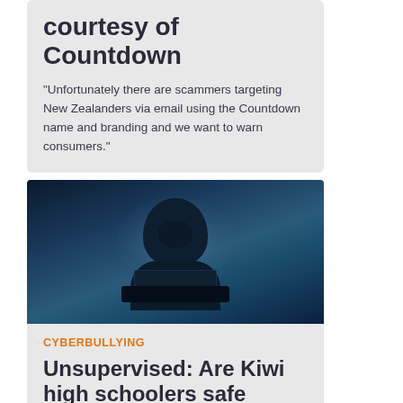courtesy of Countdown
“Unfortunately there are scammers targeting New Zealanders via email using the Countdown name and branding and we want to warn consumers.”
[Figure (photo): A hooded anonymous figure sitting behind a laptop in a dark blue-tinted environment, representing a cybercriminal or hacker.]
CYBERBULLYING
Unsupervised: Are Kiwi high schoolers safe online?